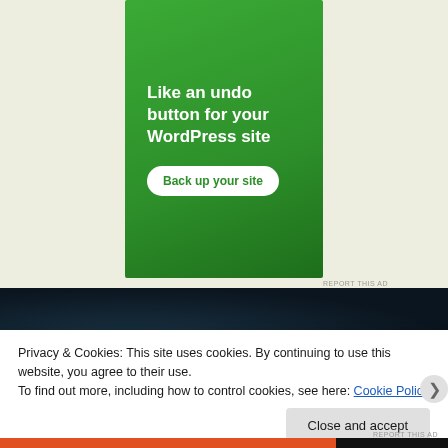[Figure (illustration): Green advertisement banner for WordPress backup service showing bold white text 'Like an undo button for your WordPress site' and a white rounded button 'Back up your site']
REPORT THIS AD
[Figure (photo): Dark, blurry close-up image with dark blue-grey tones, partially obscured by cookie consent banner]
Privacy & Cookies: This site uses cookies. By continuing to use this website, you agree to their use.
To find out more, including how to control cookies, see here: Cookie Policy
Close and accept